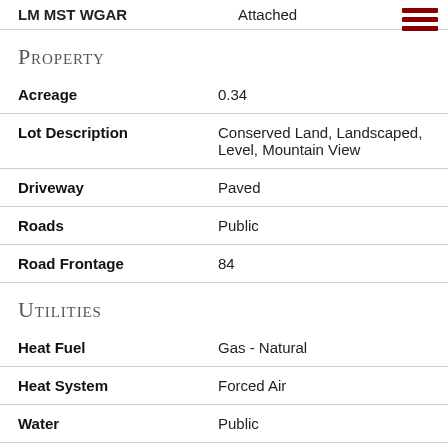| Field | Value |
| --- | --- |
| LM MST WGAR | Attached |
Property
| Field | Value |
| --- | --- |
| Acreage | 0.34 |
| Lot Description | Conserved Land, Landscaped, Level, Mountain View |
| Driveway | Paved |
| Roads | Public |
| Road Frontage | 84 |
Utilities
| Field | Value |
| --- | --- |
| Heat Fuel | Gas - Natural |
| Heat System | Forced Air |
| Water | Public |